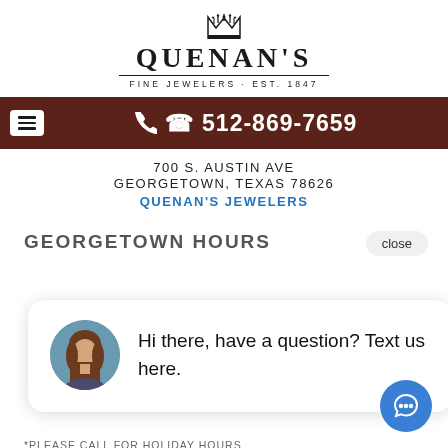[Figure (logo): Quenan's Fine Jewelers crown logo with brand name and tagline 'FINE JEWELERS · EST. 1847']
📞 512-869-7659
700 S. AUSTIN AVE
GEORGETOWN, TEXAS 78626
QUENAN'S JEWELERS
GEORGETOWN HOURS
[Figure (screenshot): Chat widget bubble with avatar photo of a woman and text: Hi there, have a question? Text us here.]
*PLEASE CALL FOR HOLIDAY HOURS
EMAIL ADDRESS
QUENANS@VERIZON.NET